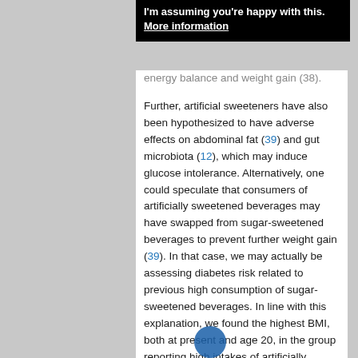I'm assuming you're happy with this. More information
energy balance and weight gain (38). Further, artificial sweeteners have also been hypothesized to have adverse effects on abdominal fat (39) and gut microbiota (12), which may induce glucose intolerance. Alternatively, one could speculate that consumers of artificially sweetened beverages may have swapped from sugar-sweetened beverages to prevent further weight gain (39). In that case, we may actually be assessing diabetes risk related to previous high consumption of sugar-sweetened beverages. In line with this explanation, we found the highest BMI, both at present and age 20, in the group reporting high intakes of artificially sweetened beverages.
The main strength of this study is the population-based design, with a large